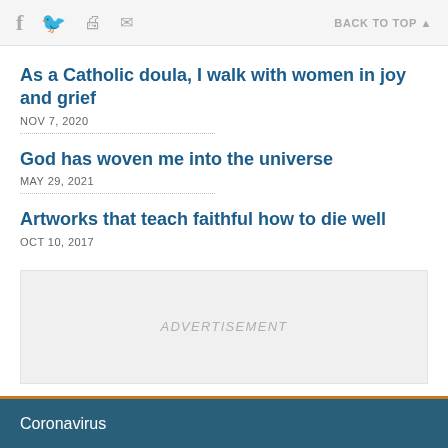f  [twitter]  [print]  [mail]  BACK TO TOP ▲
As a Catholic doula, I walk with women in joy and grief
NOV 7, 2020
God has woven me into the universe
MAY 29, 2021
Artworks that teach faithful how to die well
OCT 10, 2017
[Figure (other): Advertisement placeholder box with light gray background and italic ADVERTISEMENT label]
Coronavirus